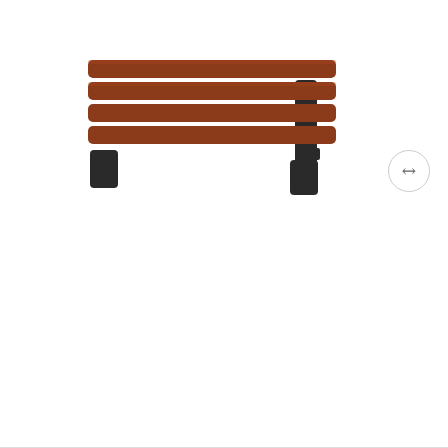[Figure (photo): Partial view of a DuraStep II Redwood Brown step/stool product with brown slatted top surface and black base, photographed on white background. A zoom button icon is visible in the lower right corner of the image area.]
DuraStep II Redwood Brown
☆☆☆☆☆ (star rating, 0 of 5 stars)
$100.00 $89.00
Found this product at a lower price?
🚚 Free Shipping